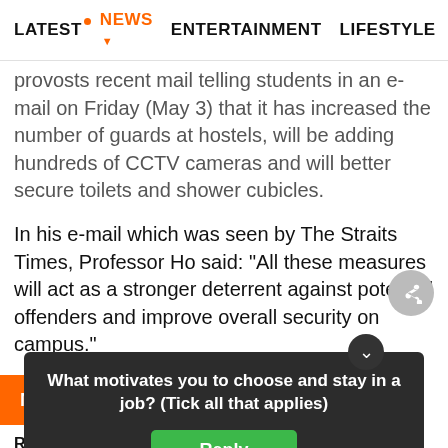LATEST  NEWS  ENTERTAINMENT  LIFESTYLE  EC>
provosts recent mail telling students in an e-mail on Friday (May 3) that it has increased the number of guards at hostels, will be adding hundreds of CCTV cameras and will better secure toilets and shower cubicles.
In his e-mail which was seen by The Straits Times, Professor Ho said: "All these measures will act as a stronger deterrent against potential offenders and improve overall security on campus."
More from AsiaOne
Read the condensed version of th... ry and d...
What motivates you to choose and stay in a job? (Tick all that applies)
The e-m...  own b...ll...it...